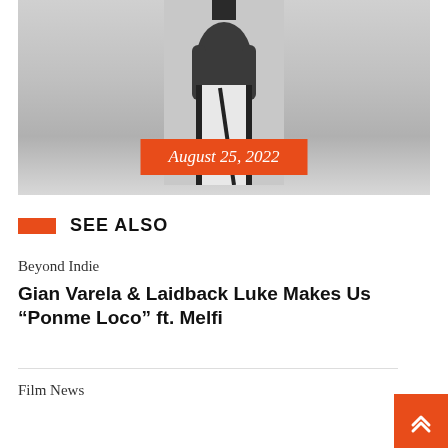[Figure (photo): Black and white photo of a shirtless man wearing white track pants with black stripes, cropped at the torso. An orange date badge reading 'August 25, 2022' overlays the bottom of the image.]
August 25, 2022
SEE ALSO
Beyond Indie
Gian Varela & Laidback Luke Makes Us “Ponme Loco” ft. Melfi
Film News